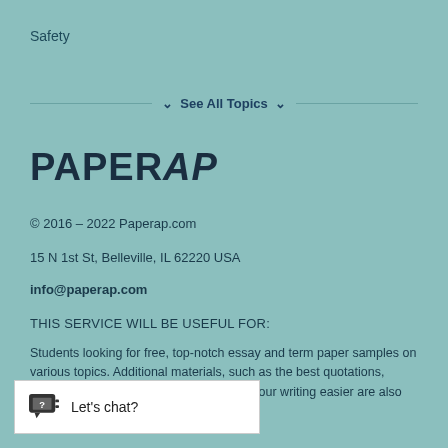Safety
∨  See All Topics  ∨
[Figure (logo): PAPERAP logo in dark navy bold font]
© 2016 – 2022 Paperap.com
15 N 1st St, Belleville, IL 62220 USA
info@paperap.com
THIS SERVICE WILL BE USEFUL FOR:
Students looking for free, top-notch essay and term paper samples on various topics. Additional materials, such as the best quotations, synonyms and word definitions to make your writing easier are also offered here.
[Figure (infographic): Let's chat? chat widget button with chat icon]